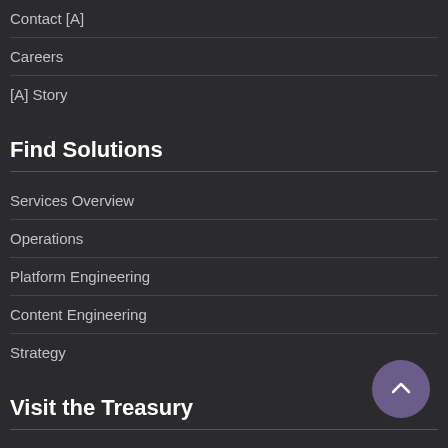Contact [A]
Careers
[A] Story
Find Solutions
Services Overview
Operations
Platform Engineering
Content Engineering
Strategy
Visit the Treasury
Featured Assets
Articles
Publications
Podcasts